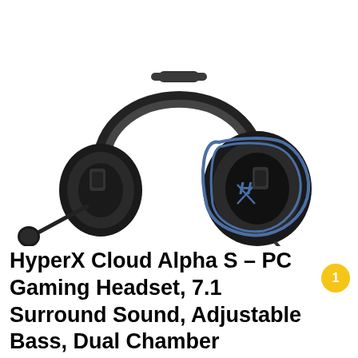[Figure (photo): HyperX Cloud Alpha S gaming headset in black with blue metallic accents, shown at an angle with detachable microphone extended to the left. The headset has large over-ear cushions, a padded headband, and the HyperX logo on the right ear cup.]
HyperX Cloud Alpha S – PC Gaming Headset, 7.1 Surround Sound, Adjustable Bass, Dual Chamber